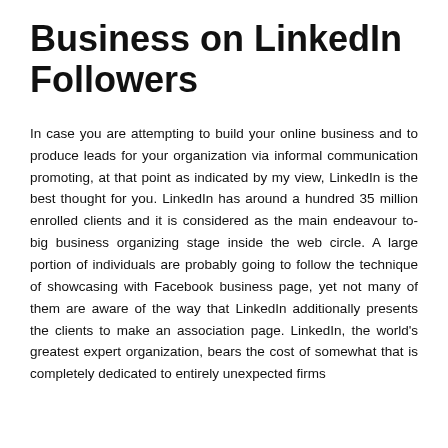Business on LinkedIn Followers
In case you are attempting to build your online business and to produce leads for your organization via informal communication promoting, at that point as indicated by my view, LinkedIn is the best thought for you. LinkedIn has around a hundred 35 million enrolled clients and it is considered as the main endeavour to-big business organizing stage inside the web circle. A large portion of individuals are probably going to follow the technique of showcasing with Facebook business page, yet not many of them are aware of the way that LinkedIn additionally presents the clients to make an association page. LinkedIn, the world's greatest expert organization, bears the cost of somewhat that is completely dedicated to entirely unexpected firms